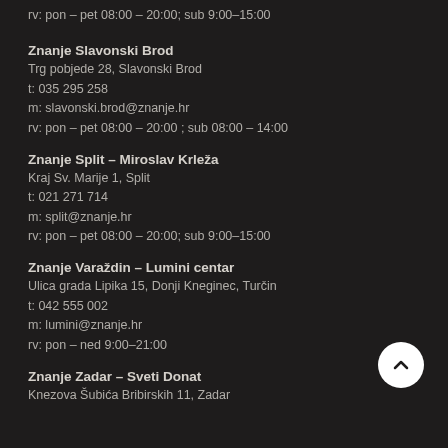rv: pon - pet 08:00 - 20:00; sub 9:00-15:00
Znanje Slavonski Brod
Trg pobjede 28, Slavonski Brod
t: 035 295 258
m: slavonski.brod@znanje.hr
rv: pon - pet 08:00 - 20:00 ; sub 08:00 – 14:00
Znanje Split - Miroslav Krleža
Kraj Sv. Marije 1, Split
t: 021 271 714
m: split@znanje.hr
rv: pon - pet 08:00 - 20:00; sub 9:00-15:00
Znanje Varaždin - Lumini centar
Ulica grada Lipika 15, Donji Kneginec, Turčin
t: 042 555 002
m: lumini@znanje.hr
rv: pon - ned 9:00-21:00
Znanje Zadar - Sveti Donat
Knezova Šubića Bribirskih 11, Zadar